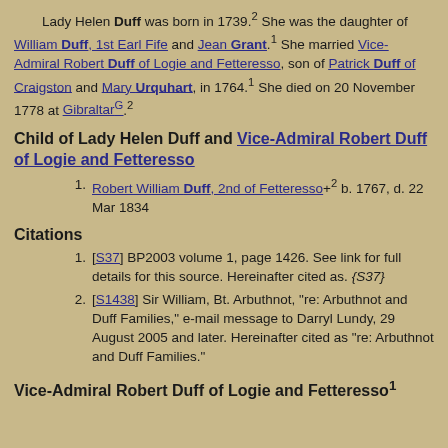Lady Helen Duff was born in 1739.2 She was the daughter of William Duff, 1st Earl Fife and Jean Grant.1 She married Vice-Admiral Robert Duff of Logie and Fetteresso, son of Patrick Duff of Craigston and Mary Urquhart, in 1764.1 She died on 20 November 1778 at Gibraltar G. 2
Child of Lady Helen Duff and Vice-Admiral Robert Duff of Logie and Fetteresso
Robert William Duff, 2nd of Fetteresso+ 2 b. 1767, d. 22 Mar 1834
Citations
[S37] BP2003 volume 1, page 1426. See link for full details for this source. Hereinafter cited as. {S37}
[S1438] Sir William, Bt. Arbuthnot, "re: Arbuthnot and Duff Families," e-mail message to Darryl Lundy, 29 August 2005 and later. Hereinafter cited as "re: Arbuthnot and Duff Families."
Vice-Admiral Robert Duff of Logie and Fetteresso 1